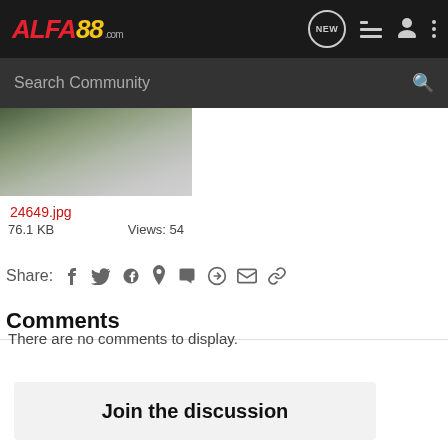ALFA88.com — NEW, menu, user, more icons
Search Community
[Figure (photo): Thumbnail image of an outdoor scene, greenish/grey tones]
24649.jpg
76.1 KB   Views: 54
Share: f t reddit p t WhatsApp mail link
Comments
There are no comments to display.
Join the discussion